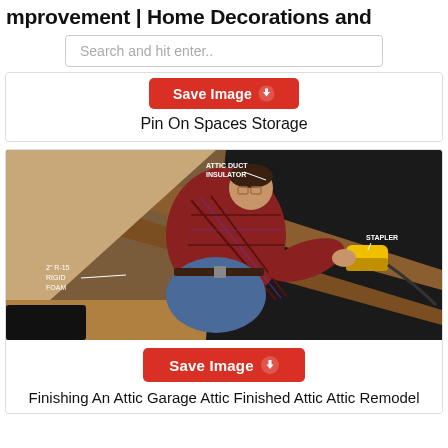mprovement | Home Decorations and
Search and hit enter..
[Figure (screenshot): Red Save Image button (partially visible) above a card label]
Pin On Spaces Storage
[Figure (photo): Man in plaid shirt working in an attic, using a yellow stapler tool to attach insulation material to rafters. Labels visible: 'ATTIC DUCT INSULATOR', '2" R-15 RIGID FOAM', 'STAPLER'.]
[Figure (screenshot): Red Save Image button with upload icon]
Finishing An Attic Garage Attic Finished Attic Attic Remodel